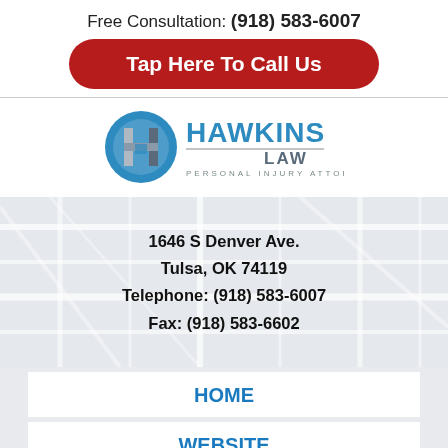Free Consultation: (918) 583-6007
Tap Here To Call Us
[Figure (logo): Hawkins Law Personal Injury Attorney logo with circular H emblem in blue/gray]
1646 S Denver Ave.
Tulsa, OK 74119
Telephone: (918) 583-6007
Fax: (918) 583-6602
HOME
WEBSITE